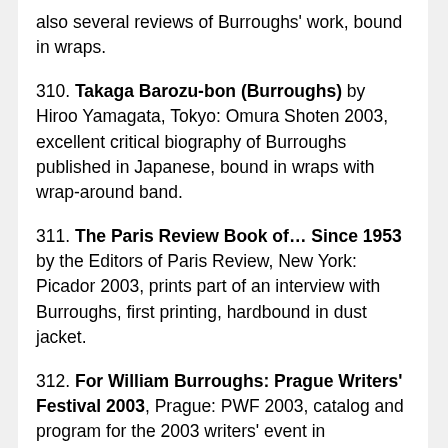also several reviews of Burroughs' work, bound in wraps.
310. Takaga Barozu-bon (Burroughs) by Hiroo Yamagata, Tokyo: Omura Shoten 2003, excellent critical biography of Burroughs published in Japanese, bound in wraps with wrap-around band.
311. The Paris Review Book of… Since 1953 by the Editors of Paris Review, New York: Picador 2003, prints part of an interview with Burroughs, first printing, hardbound in dust jacket.
312. For William Burroughs: Prague Writers' Festival 2003, Prague: PWF 2003, catalog and program for the 2003 writers' event in